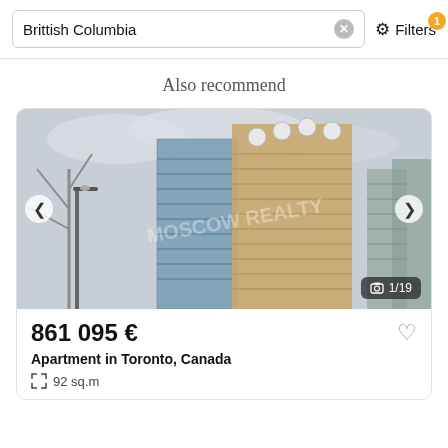Brittish Columbia
Filters
Also recommend
[Figure (photo): Looking up at a modern high-rise apartment building with glass balconies against an overcast sky, other tall buildings visible in background.]
1/19
861 095 €
Apartment in Toronto, Canada
92 sq.m